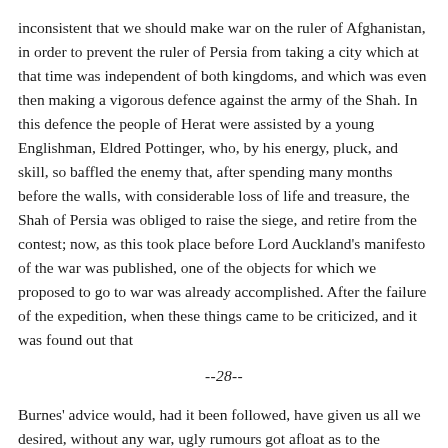inconsistent that we should make war on the ruler of Afghanistan, in order to prevent the ruler of Persia from taking a city which at that time was independent of both kingdoms, and which was even then making a vigorous defence against the army of the Shah. In this defence the people of Herat were assisted by a young Englishman, Eldred Pottinger, who, by his energy, pluck, and skill, so baffled the enemy that, after spending many months before the walls, with considerable loss of life and treasure, the Shah of Persia was obliged to raise the siege, and retire from the contest; now, as this took place before Lord Auckland's manifesto of the war was published, one of the objects for which we proposed to go to war was already accomplished. After the failure of the expedition, when these things came to be criticized, and it was found out that
--28--
Burnes' advice would, had it been followed, have given us all we desired, without any war, ugly rumours got afloat as to the manner in which his despatches had been tampered with, before being presented to the country by the Government.
However, the war commenced, and various troubles occurred in crossing the independent country of the Punjab and Scinde, which lay between